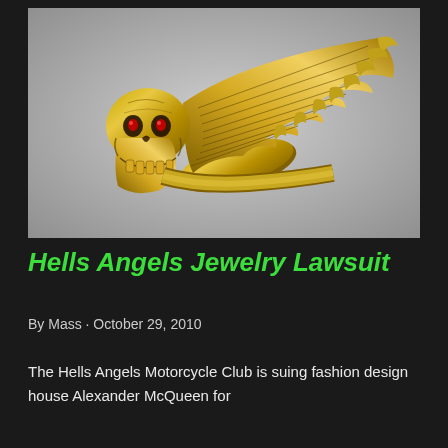[Figure (photo): Gold skull ring with wing design, featuring a skull face with red gem eyes and elaborate feathered wing extending to the right, displayed against a light gray background.]
Hells Angels Jewelry Lawsuit
By Mass · October 29, 2010
The Hells Angels Motorcycle Club is suing fashion design house Alexander McQueen for trademark infringement. The lawsuit stems from a certain ring...